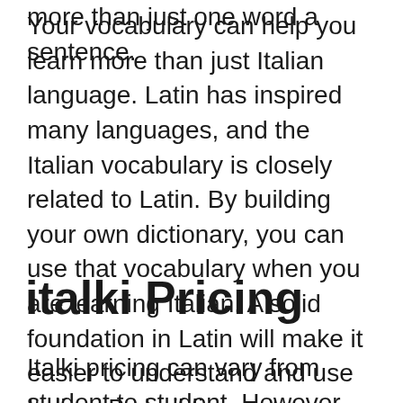more than just one word a sentence.
Your vocabulary can help you learn more than just Italian language. Latin has inspired many languages, and the Italian vocabulary is closely related to Latin. By building your own dictionary, you can use that vocabulary when you are learning Italian. A solid foundation in Latin will make it easier to understand and use Italian. By building a strong vocabulary, you’ll be able to communicate with native Italian speakers and improve your language skills.
italki Pricing
Italki pricing can vary from student to student. However, the website offers a 30-